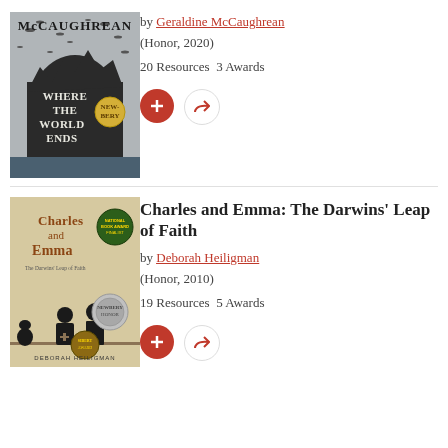[Figure (photo): Book cover of 'Where the World Ends' by McCaughrean, showing dark rock formation with silhouettes of birds, with a Newbery medal badge]
by Geraldine McCaughrean
(Honor, 2020)
20 Resources  3 Awards
[Figure (photo): Book cover of 'Charles and Emma: The Darwins' Leap of Faith' by Deborah Heiligman, showing silhouettes of Darwin and Emma with an ape, with National Book Award Finalist and Newbery Honor medal badges]
Charles and Emma: The Darwins' Leap of Faith
by Deborah Heiligman
(Honor, 2010)
19 Resources  5 Awards